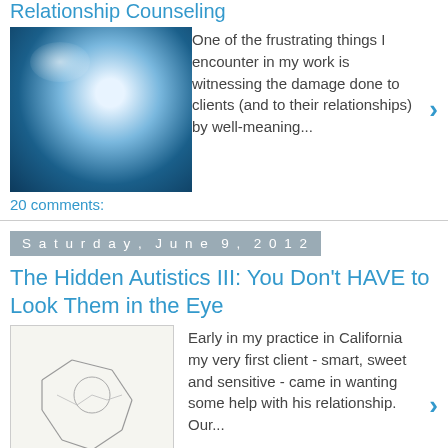Relationship Counseling
One of the frustrating things I encounter in my work is witnessing the damage done to clients (and to their relationships) by well-meaning...
20 comments:
Saturday, June 9, 2012
The Hidden Autistics III: You Don't HAVE to Look Them in the Eye
Early in my practice in California my very first client - smart, sweet and sensitive - came in wanting some help with his relationship.  Our...
8 comments:
Thursday, June 7, 2012
The Hidden Autistics II: Asperger's in Adults and